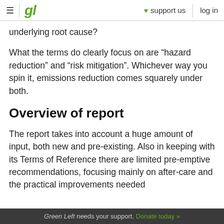gl | support us | log in
underlying root cause?
What the terms do clearly focus on are “hazard reduction” and “risk mitigation”. Whichever way you spin it, emissions reduction comes squarely under both.
Overview of report
The report takes into account a huge amount of input, both new and pre-existing. Also in keeping with its Terms of Reference there are limited pre-emptive recommendations, focusing mainly on after-care and the practical improvements needed
Green Left needs your support. Donate today »